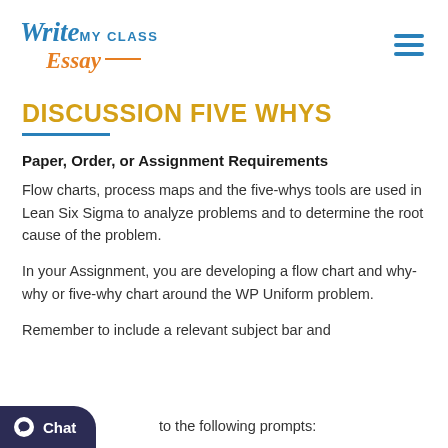[Figure (logo): WriteMyClassEssay logo with stylized script and sans-serif text, blue and orange colors]
DISCUSSION FIVE WHYS
Paper, Order, or Assignment Requirements
Flow charts, process maps and the five-whys tools are used in Lean Six Sigma to analyze problems and to determine the root cause of the problem.
In your Assignment, you are developing a flow chart and why-why or five-why chart around the WP Uniform problem.
Remember to include a relevant subject bar and to the following prompts: